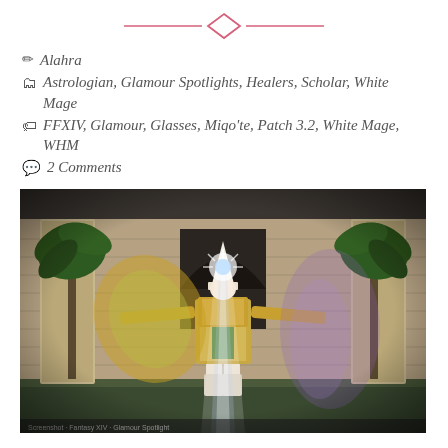[Figure (other): Decorative ornament: horizontal line with diamond shape in center, pink/rose color]
✏ Alahra
🗂 Astrologian, Glamour Spotlights, Healers, Scholar, White Mage
🏷 FFXIV, Glamour, Glasses, Miqo'te, Patch 3.2, White Mage, WHM
💬 2 Comments
[Figure (screenshot): Screenshot from Final Fantasy XIV showing a Miqo'te character in elaborate healer glamour (White Mage outfit) with glowing white light effects, arms outstretched, standing in a stone courtyard with palm trees and brick architecture. The character wears a white pointed hat and detailed green and gold robes.]